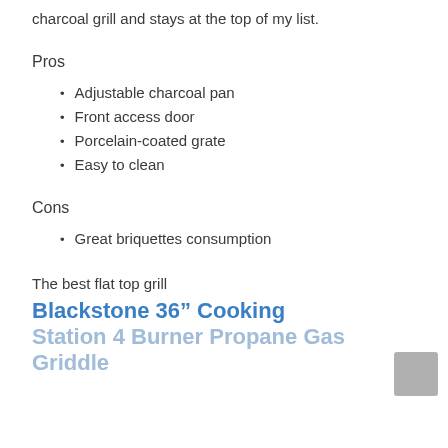charcoal grill and stays at the top of my list.
Pros
Adjustable charcoal pan
Front access door
Porcelain-coated grate
Easy to clean
Cons
Great briquettes consumption
The best flat top grill
Blackstone 36″ Cooking Station 4 Burner Propane Gas Griddle